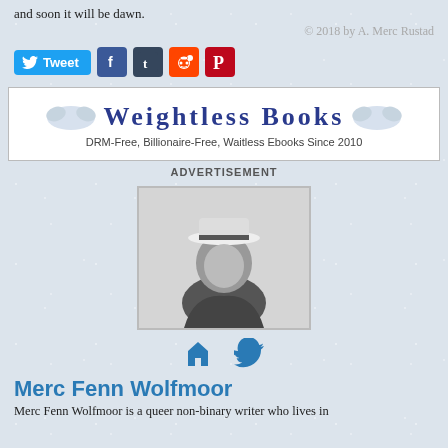and soon it will be dawn.
© 2018 by A. Merc Rustad
[Figure (infographic): Social share buttons: Tweet (Twitter/blue), Facebook (blue), Tumblr (dark), Reddit (orange-red), Pinterest (red)]
[Figure (infographic): Weightless Books advertisement banner: 'Weightless Books — DRM-Free, Billionaire-Free, Waitless Ebooks Since 2010']
ADVERTISEMENT
[Figure (photo): Black and white author photo of Merc Fenn Wolfmoor wearing a white hat]
[Figure (infographic): Author social icons: home icon and Twitter bird icon]
Merc Fenn Wolfmoor
Merc Fenn Wolfmoor is a queer non-binary writer who lives in